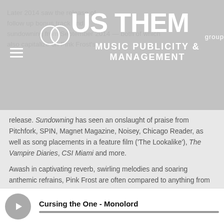[Figure (logo): Us Them Group Music Publicity & Management logo with interlocking circles]
Later 2014 saw the release of follow up bonus track and Sundowning from September 2014 — both of which also capitalize on Pink Frost s release. Sundowning has seen an onslaught of praise from Pitchfork, SPIN, Magnet Magazine, Noisey, Chicago Reader, as well as song placements in a feature film ('The Lookalike'), The Vampire Diaries, CSI Miami and more.
Awash in captivating reverb, swirling melodies and soaring anthemic refrains, Pink Frost are often compared to anything from Ride to Smashing Pumpkins to Dinosaur Jr. to The Men and beyond. Their intense yet always tuneful signature heavy-yet-droning hook-laden infectious rock continues to infect the world.
Traitors will be available on CD and download via Smart Like Virus Records on September 16th, 2014.
Cursing the One - Monolord